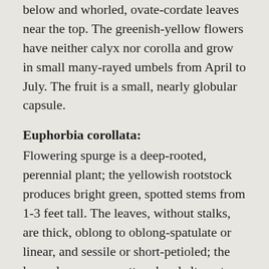below and whorled, ovate-cordate leaves near the top. The greenish-yellow flowers have neither calyx nor corolla and grow in small many-rayed umbels from April to July. The fruit is a small, nearly globular capsule.
Euphorbia corollata:
Flowering spurge is a deep-rooted, perennial plant; the yellowish rootstock produces bright green, spotted stems from 1-3 feet tall. The leaves, without stalks, are thick, oblong to oblong-spatulate or linear, and sessile or short-petioled; the lower leaves are scattered and alternate, the upper whorled. What appear to be flowers are actually greenish-yellow glands subtended by white, petal-like appendages. These appear in terminal umbels from April to October.
Euphorbia...